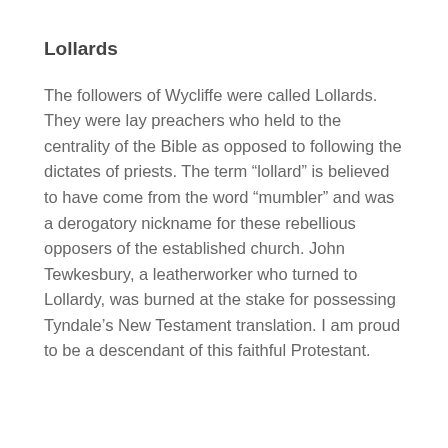Lollards
The followers of Wycliffe were called Lollards. They were lay preachers who held to the centrality of the Bible as opposed to following the dictates of priests. The term “lollard” is believed to have come from the word “mumbler” and was a derogatory nickname for these rebellious opposers of the established church. John Tewkesbury, a leatherworker who turned to Lollardy, was burned at the stake for possessing Tyndale’s New Testament translation. I am proud to be a descendant of this faithful Protestant.